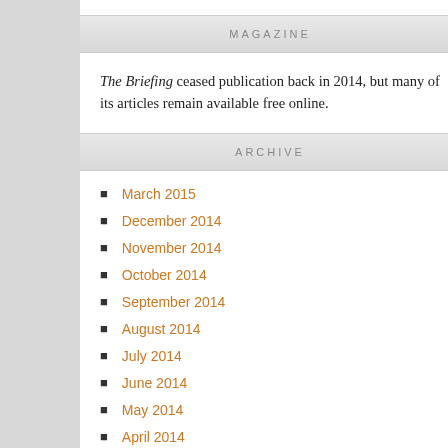MAGAZINE
The Briefing ceased publication back in 2014, but many of its articles remain available free online.
ARCHIVE
March 2015
December 2014
November 2014
October 2014
September 2014
August 2014
July 2014
June 2014
May 2014
April 2014
March 2014
February 2014